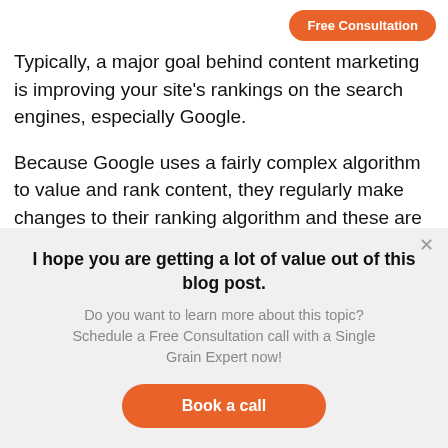Free Consultation
Typically, a major goal behind content marketing is improving your site's rankings on the search engines, especially Google.
Because Google uses a fairly complex algorithm to value and rank content, they regularly make changes to their ranking algorithm and these are
I hope you are getting a lot of value out of this blog post.
Do you want to learn more about this topic? Schedule a Free Consultation call with a Single Grain Expert now!
Book a call